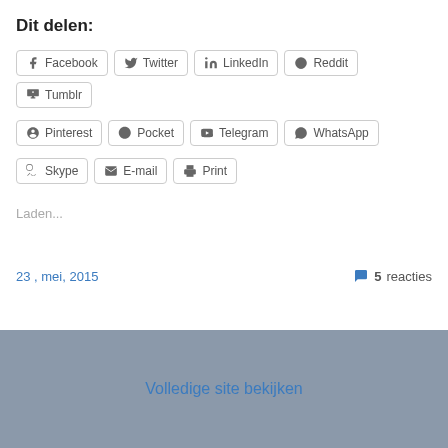Dit delen:
Facebook
Twitter
LinkedIn
Reddit
Tumblr
Pinterest
Pocket
Telegram
WhatsApp
Skype
E-mail
Print
Laden...
23 , mei, 2015
5 reacties
Volledige site bekijken